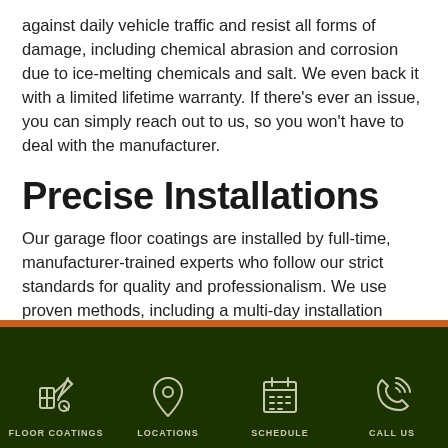against daily vehicle traffic and resist all forms of damage, including chemical abrasion and corrosion due to ice-melting chemicals and salt. We even back it with a limited lifetime warranty. If there's ever an issue, you can simply reach out to us, so you won't have to deal with the manufacturer.
Precise Installations
Our garage floor coatings are installed by full-time, manufacturer-trained experts who follow our strict standards for quality and professionalism. We use proven methods, including a multi-day installation process that allows epoxy layers time to form a secure mechanical bond. This, in addition to a water mitigation barrier, ensures our coatings will stand up to
FLOOR COATINGS  LOCATIONS  SCHEDULE  CALL US